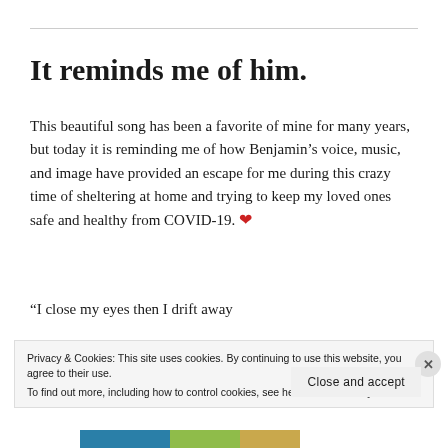It reminds me of him.
This beautiful song has been a favorite of mine for many years, but today it is reminding me of how Benjamin’s voice, music, and image have provided an escape for me during this crazy time of sheltering at home and trying to keep my loved ones safe and healthy from COVID-19. ❤
“I close my eyes then I drift away
Privacy & Cookies: This site uses cookies. By continuing to use this website, you agree to their use.
To find out more, including how to control cookies, see here: Cookie Policy
Close and accept